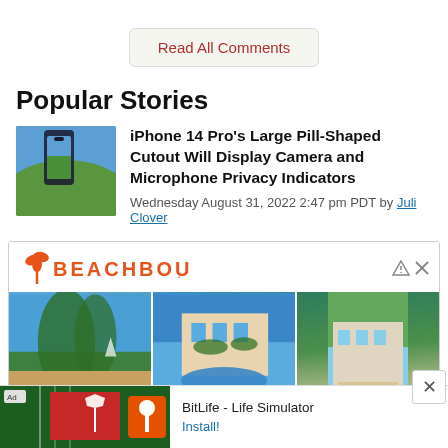Read All Comments
Popular Stories
iPhone 14 Pro's Large Pill-Shaped Cutout Will Display Camera and Microphone Privacy Indicators
Wednesday August 31, 2022 2:47 pm PDT by Juli Clover
[Figure (photo): iPhone with pill-shaped cutout thumbnail]
[Figure (advertisement): BEACHBOUND travel advertisement with resort photos: Occidental at Xcaret, Dreams Aventuras, Ocean Club. Bottom BitLife - Life Simulator ad banner.]